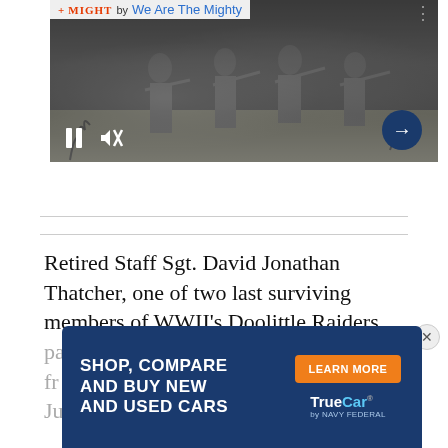[Figure (screenshot): Embedded video player showing a black and white historical photo of soldiers/fighters holding rifles, with watermark 'by We Are The Mighty', pause button, mute icon, and next arrow button]
Retired Staff Sgt. David Jonathan Thatcher, one of two last surviving members of WWII's Doolittle Raiders, pa... fr... Ju...
[Figure (infographic): Advertisement overlay: 'SHOP, COMPARE AND BUY NEW AND USED CARS' with LEARN MORE button and TrueCar by Navy Federal logo on dark blue background]